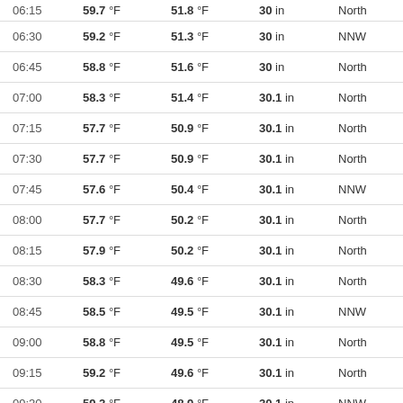| Time | Temp | Dew Point | Pressure | Wind Dir | Wind Speed |
| --- | --- | --- | --- | --- | --- |
| 06:30 | 59.2 °F | 51.3 °F | 30 in | NNW | 8 mp |
| 06:45 | 58.8 °F | 51.6 °F | 30 in | North | 6 mp |
| 07:00 | 58.3 °F | 51.4 °F | 30.1 in | North | 7 mp |
| 07:15 | 57.7 °F | 50.9 °F | 30.1 in | North | 7 mp |
| 07:30 | 57.7 °F | 50.9 °F | 30.1 in | North | 6 mp |
| 07:45 | 57.6 °F | 50.4 °F | 30.1 in | NNW | 7 mp |
| 08:00 | 57.7 °F | 50.2 °F | 30.1 in | North | 6 mp |
| 08:15 | 57.9 °F | 50.2 °F | 30.1 in | North | 8 mp |
| 08:30 | 58.3 °F | 49.6 °F | 30.1 in | North | 6 mp |
| 08:45 | 58.5 °F | 49.5 °F | 30.1 in | NNW | 5 mp |
| 09:00 | 58.8 °F | 49.5 °F | 30.1 in | North | 9 mp |
| 09:15 | 59.2 °F | 49.6 °F | 30.1 in | North | 8 mp |
| 09:30 | 59.2 °F | 48.9 °F | 30.1 in | NNW | 8 mp |